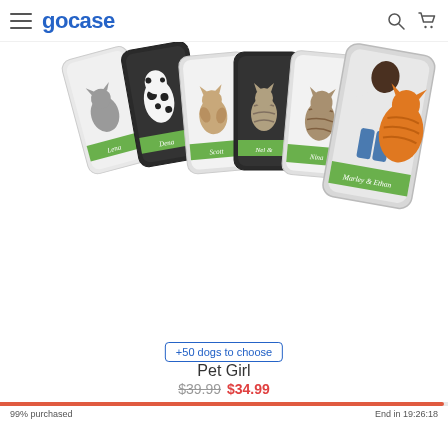gocase
[Figure (photo): Multiple phone cases fanned out showing various pet illustrations (cats and dogs) sitting on grass with personalized name labels, alongside a woman sitting with a large orange cat. Labels visible: Lena, Dena, Scott, Nel &, Nina, Marley & Ethan.]
+50 dogs to choose
Pet Girl
$39.99  $34.99
99% purchased
End in 19:26:18